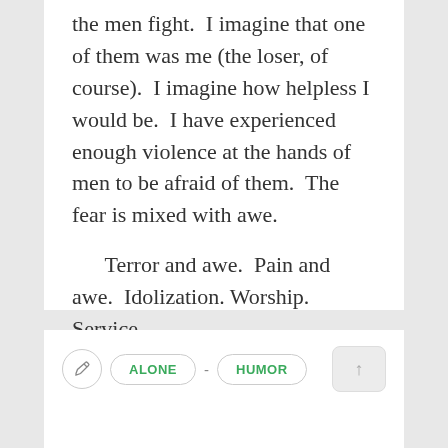the men fight.  I imagine that one of them was me (the loser, of course).  I imagine how helpless I would be.  I have experienced enough violence at the hands of men to be afraid of them.  The fear is mixed with awe.
Terror and awe.  Pain and awe.  Idolization.  Worship.  Service.
waiting waiting waiting
ALONE - HUMOR